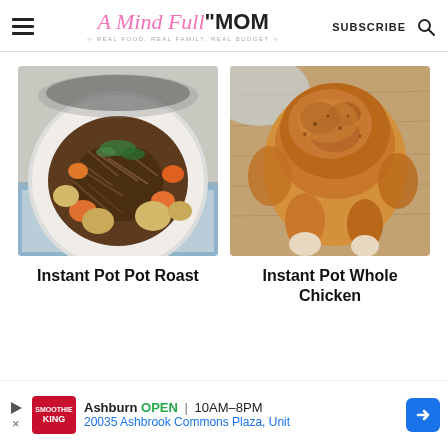A Mind Full MOM — REAL FOOD. REAL FAMILY. REAL BUDGET. — SUBSCRIBE
[Figure (photo): Bowl of shredded pot roast with carrots and potatoes on a blue-checked cloth]
Instant Pot Pot Roast
[Figure (photo): Whole roasted chicken on a wooden cutting board, golden-brown skin]
Instant Pot Whole Chicken
Ashburn OPEN | 10AM–8PM  20035 Ashbrook Commons Plaza, Unit